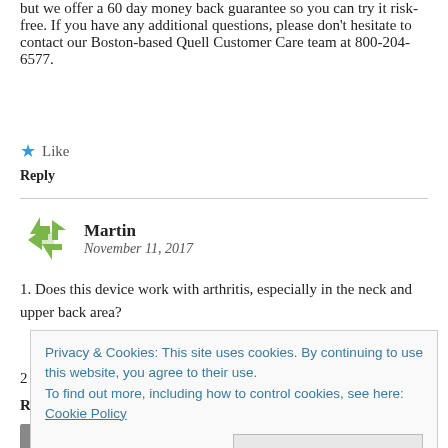but we offer a 60 day money back guarantee so you can try it risk-free. If you have any additional questions, please don't hesitate to contact our Boston-based Quell Customer Care team at 800-204-6577.
★ Like
Reply
Martin
November 11, 2017
1. Does this device work with arthritis, especially in the neck and upper back area?
Privacy & Cookies: This site uses cookies. By continuing to use this website, you agree to their use.
To find out more, including how to control cookies, see here:
Cookie Policy
Close and accept
Jennifer Kain Kilgore